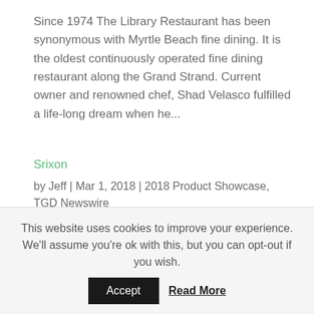Since 1974 The Library Restaurant has been synonymous with Myrtle Beach fine dining. It is the oldest continuously operated fine dining restaurant along the Grand Strand. Current owner and renowned chef, Shad Velasco fulfilled a life-long dream when he...
Srixon
by Jeff | Mar 1, 2018 | 2018 Product Showcase, TGD Newswire
Gene's Dream
by Jeff | Mar 1, 2018 | TGD Newswire, 2018 Issue
This website uses cookies to improve your experience. We'll assume you're ok with this, but you can opt-out if you wish.